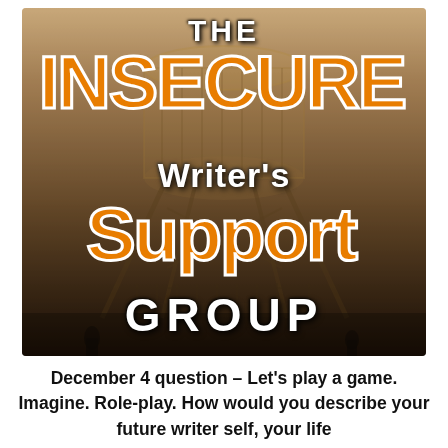[Figure (illustration): Logo for The Insecure Writer's Support Group. Large stylized text showing 'THE INSECURE WRITER'S SUPPORT GROUP' over a sepia-toned water tower background. 'INSECURE' and 'SUPPORT' are in large orange letters with white outline. 'THE', 'WRITER'S', and 'GROUP' are in white. Background shows a water tower in sepia/dark tones.]
December 4 question – Let's play a game. Imagine. Role-play. How would you describe your future writer self, your life